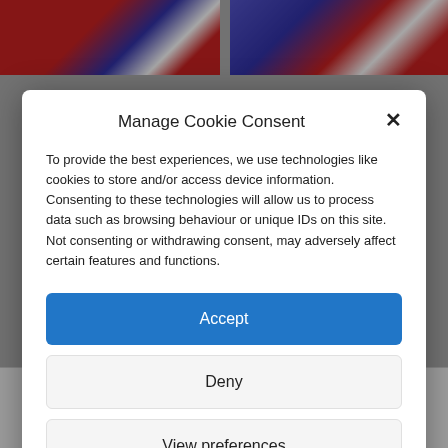[Figure (screenshot): Background website content with red/blue/white header images (partially visible) and text 'export asylum seekers to Rwanda' at bottom, overlaid by a semi-transparent dark overlay]
Manage Cookie Consent
To provide the best experiences, we use technologies like cookies to store and/or access device information. Consenting to these technologies will allow us to process data such as browsing behaviour or unique IDs on this site. Not consenting or withdrawing consent, may adversely affect certain features and functions.
Accept
Deny
View preferences